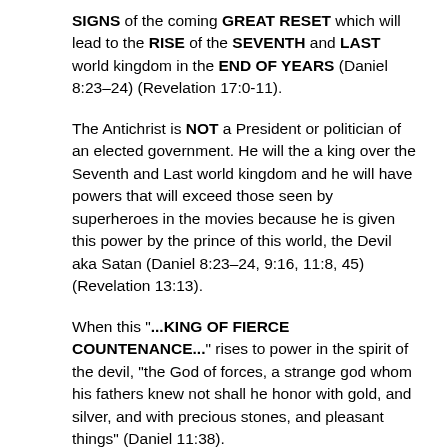SIGNS of the coming GREAT RESET which will lead to the RISE of the SEVENTH and LAST world kingdom in the END OF YEARS (Daniel 8:23–24) (Revelation 17:0-11).
The Antichrist is NOT a President or politician of an elected government. He will the a king over the Seventh and Last world kingdom and he will have powers that will exceed those seen by superheroes in the movies because he is given this power by the prince of this world, the Devil aka Satan (Daniel 8:23–24, 9:16, 11:8, 45) (Revelation 13:13).
When this "...KING OF FIERCE COUNTENANCE..." rises to power in the spirit of the devil, "the God of forces, a strange god whom his fathers knew not shall he honor with gold, and silver, and with precious stones, and pleasant things" (Daniel 11:38).